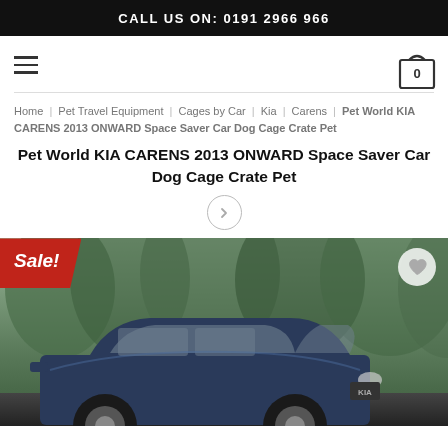CALL US ON: 0191 2966 966
Home | Pet Travel Equipment | Cages by Car | Kia | Carens | Pet World KIA CARENS 2013 ONWARD Space Saver Car Dog Cage Crate Pet
[Figure (photo): Photo of a dark blue Kia Carens SUV driving on a road with green trees in background. A red 'Sale!' badge is shown in the top-left corner of the image.]